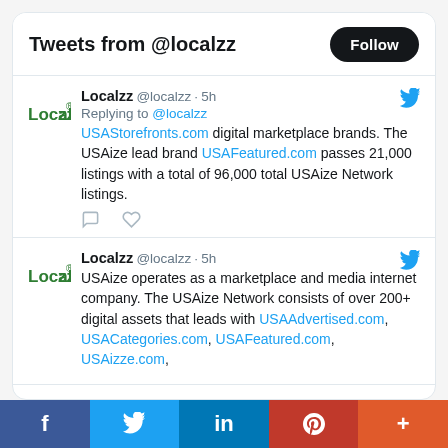Tweets from @localzz
Localzz @localzz · 5h
Replying to @localzz
USAStorefronts.com digital marketplace brands. The USAize lead brand USAFeatured.com passes 21,000 listings with a total of 96,000 total USAize Network listings.
Localzz @localzz · 5h
USAize operates as a marketplace and media internet company. The USAize Network consists of over 200+ digital assets that leads with USAAdvertised.com, USACategories.com, USAFeatured.com, USAizze.com,
[Figure (screenshot): Social media share bar with Facebook, Twitter, LinkedIn, Pinterest, and More buttons]